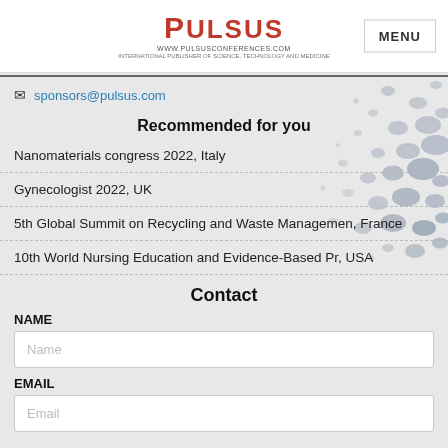PULSUS | MENU
sponsors@pulsus.com
Recommended for you
Nanomaterials congress 2022, Italy
Gynecologist 2022, UK
5th Global Summit on Recycling and Waste Managemen, France
10th World Nursing Education and Evidence-Based Pr, USA
Contact
NAME
Name
EMAIL
Email